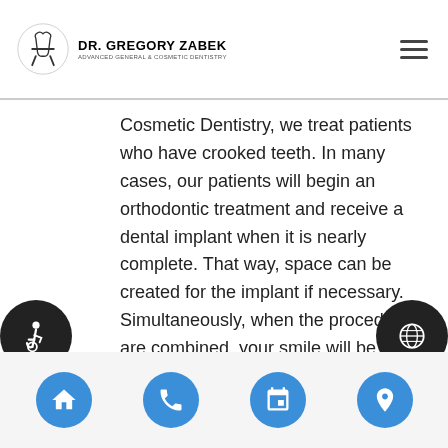DR. GREGORY ZABEK — ADVANCED GENERAL & COSMETIC DENTISTRY
Cosmetic Dentistry, we treat patients who have crooked teeth. In many cases, our patients will begin an orthodontic treatment and receive a dental implant when it is nearly complete. That way, space can be created for the implant if necessary. Simultaneously, when the procedures are combined, your smile will be greatly improved. In rare cases, existing teeth do not respond like they should to an orthodontics treatment like braces or aligners. In this situation, a professional may recommend having that one particular tooth removed and replaced with a dental implant. This is something we can discuss with you in our San Francisco dental office.
Navigation bar with home, phone, calendar, and location icons